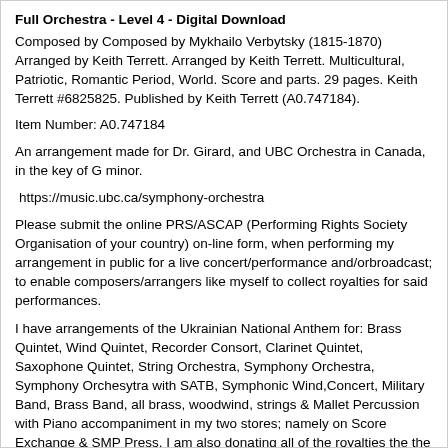Full Orchestra - Level 4 - Digital Download
Composed by Composed by Mykhailo Verbytsky (1815-1870) Arranged by Keith Terrett. Arranged by Keith Terrett. Multicultural, Patriotic, Romantic Period, World. Score and parts. 29 pages. Keith Terrett #6825825. Published by Keith Terrett (A0.747184).
Item Number: A0.747184
An arrangement made for Dr. Girard, and UBC Orchestra in Canada, in the key of G minor.
https://music.ubc.ca/symphony-orchestra
Please submit the online PRS/ASCAP (Performing Rights Society Organisation of your country) on-line form, when performing my arrangement in public for a live concert/performance and/orbroadcast; to enable composers/arrangers like myself to collect royalties for said performances.
I have arrangements of the Ukrainian National Anthem for: Brass Quintet, Wind Quintet, Recorder Consort, Clarinet Quintet, Saxophone Quintet, String Orchestra, Symphony Orchestra, Symphony Orchesytra with SATB, Symphonic Wind,Concert, Military Band, Brass Band, all brass, woodwind, strings & Mallet Percussion with Piano accompaniment in my two stores; namely on Score Exchange & SMP Press. I am also donating all of the royalties the the Canadian Red Cross through my Canadian publisher namely Cherry Classics who are distributing my Brass Quintet version: https://cherryclassics.com/collections/latest-releases/products/verbytsky-